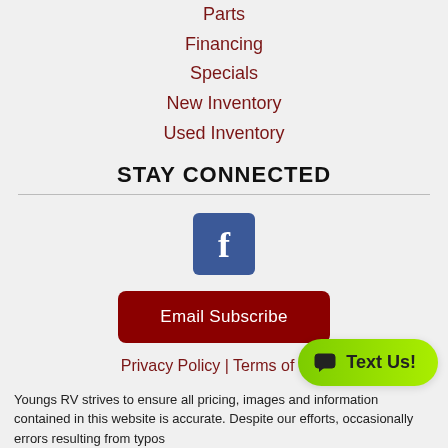Parts
Financing
Specials
New Inventory
Used Inventory
STAY CONNECTED
[Figure (logo): Facebook logo icon — white 'f' on blue square background]
[Figure (other): Email Subscribe button — dark red rounded rectangle button with white text]
Privacy Policy | Terms of Use
[Figure (other): Text Us! chat button — green pill-shaped button with chat bubble icon and 'Text Us!' text]
Youngs RV strives to ensure all pricing, images and information contained in this website is accurate. Despite our efforts, occasionally errors resulting from typos